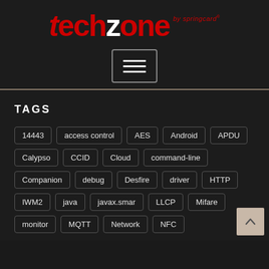[Figure (logo): TechZone by SpringCard logo — large stylized red and white text 'techzone' with 'by springcard' in red italic superscript]
[Figure (other): Hamburger menu button — three horizontal white lines inside a rectangular border]
TAGS
14443
access control
AES
Android
APDU
Calypso
CCID
Cloud
command-line
Companion
debug
Desfire
driver
HTTP
IWM2
java
javax.smar
LLCP
Mifare
monitor
MQTT
Network
NFC